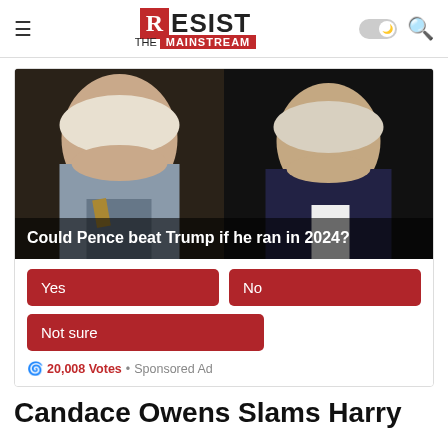Resist The Mainstream
[Figure (infographic): Poll widget showing two political figures side by side with question 'Could Pence beat Trump if he ran in 2024?' and voting buttons: Yes, No, Not sure. Shows 20,008 Votes. Sponsored Ad.]
Candace Owens Slams Harry